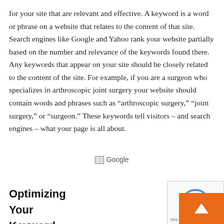for your site that are relevant and effective. A keyword is a word or phrase on a website that relates to the content of that site. Search engines like Google and Yahoo rank your website partially based on the number and relevance of the keywords found there. Any keywords that appear on your site should be closely related to the content of the site. For example, if you are a surgeon who specializes in arthroscopic joint surgery your website should contain words and phrases such as “arthroscopic surgery,” “joint surgery,” or “surgeon.” These keywords tell visitors – and search engines – what your page is all about.
[Figure (other): Broken image placeholder labeled 'Google']
Optimizing
Your
Keyword